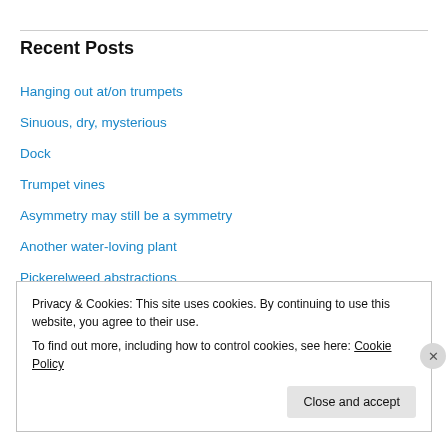Recent Posts
Hanging out at/on trumpets
Sinuous, dry, mysterious
Dock
Trumpet vines
Asymmetry may still be a symmetry
Another water-loving plant
Pickerelweed abstractions
Two degrees of passing away
Posted on a post in a post
Privacy & Cookies: This site uses cookies. By continuing to use this website, you agree to their use. To find out more, including how to control cookies, see here: Cookie Policy
Close and accept